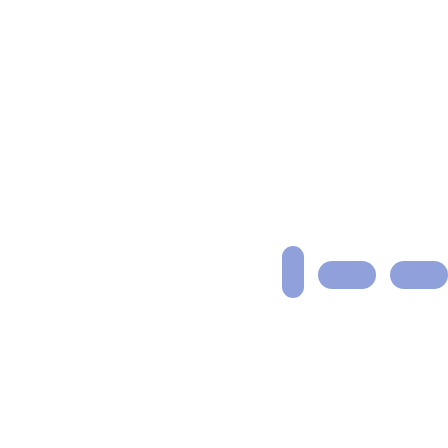[Figure (other): A loading indicator or progress dots graphic consisting of one vertical rounded pill shape on the left followed by three horizontal rounded pill/dash shapes to the right, all in a medium periwinkle blue color, centered slightly left of center on a white background.]